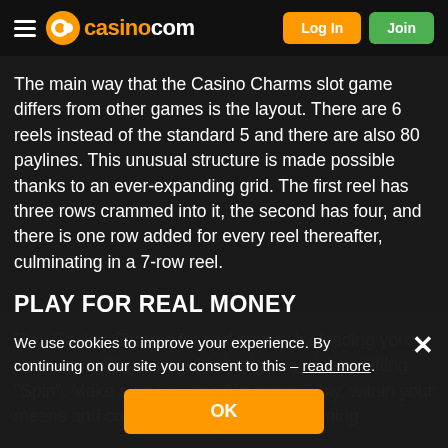casino.com — Log In | Join
The main way that the Casino Charms slot game differs from other games is the layout. There are 6 reels instead of the standard 5 and there are also 80 paylines. This unusual structure is made possible thanks to an ever-expanding grid. The first reel has three rows crammed into it, the second has four, and there is one row added for every reel thereafter, culminating in a 7-row reel.
PLAY FOR REAL MONEY
Play Casino Charms for real money by loading your account, setting a sensible budget, and then hitting "Spin". Make sure you gamble responsibly, within your means and consult our Responsible Gaming
We use cookies to improve your experience. By continuing on our site you consent to this – read more.